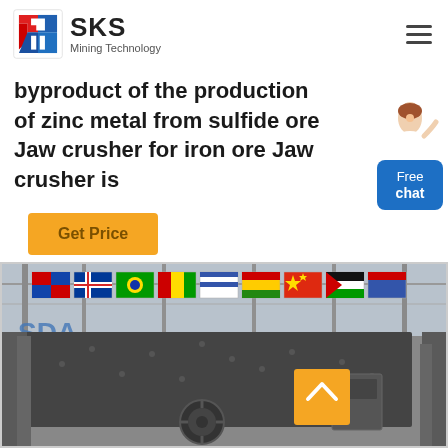[Figure (logo): SKS Mining Technology logo with stylized blue and red emblem]
byproduct of the production of zinc metal from sulfide ore Jaw crusher for iron ore Jaw crusher is
Get Price
[Figure (illustration): Chat widget with woman figure and blue Free chat button]
[Figure (photo): Industrial jaw crusher machine in a factory hall decorated with international flags hanging from the ceiling]